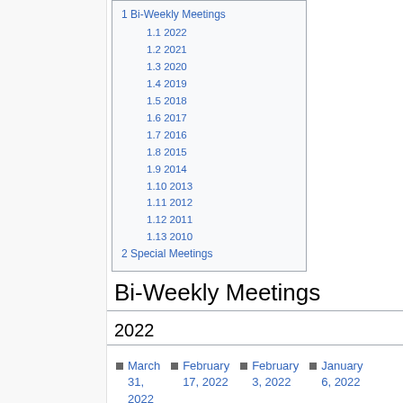1 Bi-Weekly Meetings
1.1 2022
1.2 2021
1.3 2020
1.4 2019
1.5 2018
1.6 2017
1.7 2016
1.8 2015
1.9 2014
1.10 2013
1.11 2012
1.12 2011
1.13 2010
2 Special Meetings
Bi-Weekly Meetings
2022
March 31, 2022
February 17, 2022
February 3, 2022
January 6, 2022